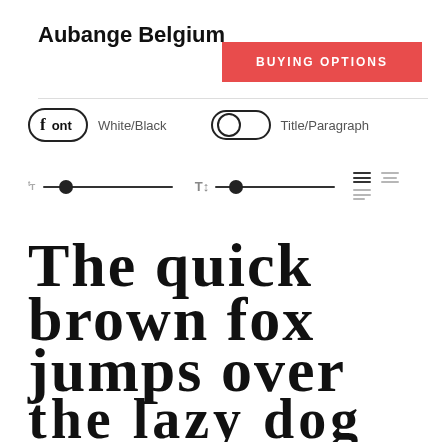Aubange Belgium
[Figure (screenshot): BUYING OPTIONS red button]
[Figure (screenshot): UI controls: Font toggle pill with White/Black label, toggle switch with Title/Paragraph label, size sliders, and alignment icons]
[Figure (illustration): Blackletter font preview text: 'The quick brown fox jumps over the lazy dog' in a gothic/blackletter typeface]